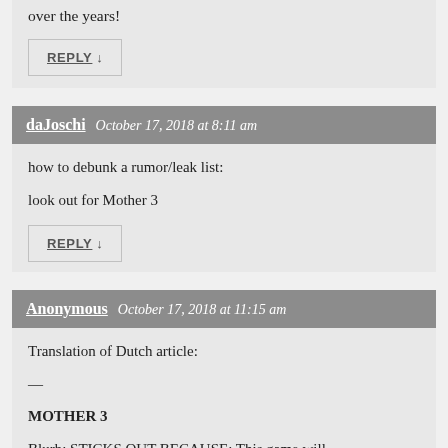over the years!
REPLY ↓
daJoschi   October 17, 2018 at 8:11 am
how to debunk a rumor/leak list:

look out for Mother 3
REPLY ↓
Anonymous   October 17, 2018 at 11:15 am
Translation of Dutch article:
—
MOTHER 3
Blurb: STICKS OUT BECAUSE: This game will